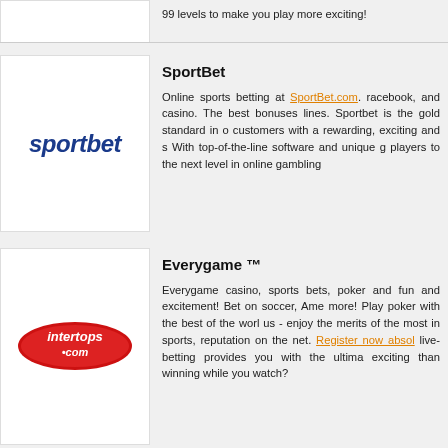99 levels to make you play more exciting!
SportBet
Online sports betting at SportBet.com. racebook, and casino. The best bonuses lines. Sportbet is the gold standard in o customers with a rewarding, exciting and s With top-of-the-line software and unique g players to the next level in online gambling
[Figure (logo): Sportbet logo in blue italic bold text]
Everygame ™
Everygame casino, sports bets, poker and fun and excitement! Bet on soccer, Ame more! Play poker with the best of the worl us - enjoy the merits of the most in sports, reputation on the net. Register now absol live-betting provides you with the ultima exciting than winning while you watch?
[Figure (logo): Intertops.com logo - red oval with white text]